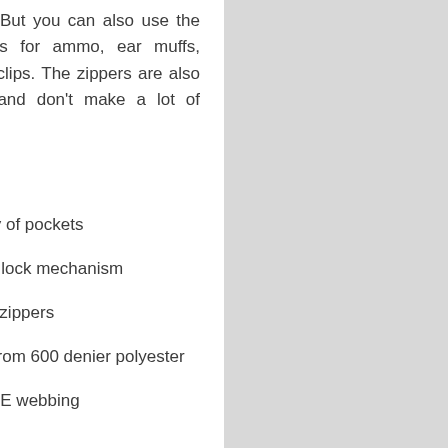magazines. But you can also use the other pockets for ammo, ear muffs, glasses and clips. The zippers are also heavy duty and don't make a lot of noise.
Pros
Plenty of pockets
Great lock mechanism
Quiet zippers
Built from 600 denier polyester
MOLLE webbing
light